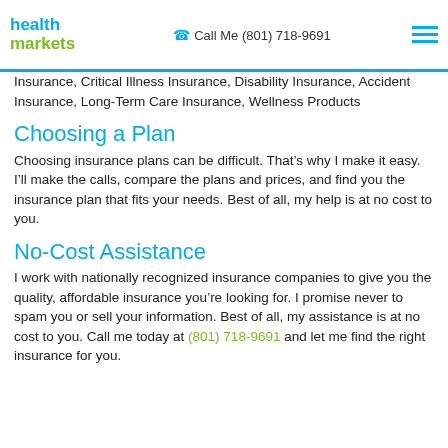health markets | Call Me (801) 718-9691
Insurance, Critical Illness Insurance, Disability Insurance, Accident Insurance, Long-Term Care Insurance, Wellness Products
Choosing a Plan
Choosing insurance plans can be difficult. That’s why I make it easy. I’ll make the calls, compare the plans and prices, and find you the insurance plan that fits your needs. Best of all, my help is at no cost to you.
No-Cost Assistance
I work with nationally recognized insurance companies to give you the quality, affordable insurance you’re looking for. I promise never to spam you or sell your information. Best of all, my assistance is at no cost to you. Call me today at (801) 718-9691 and let me find the right insurance for you.